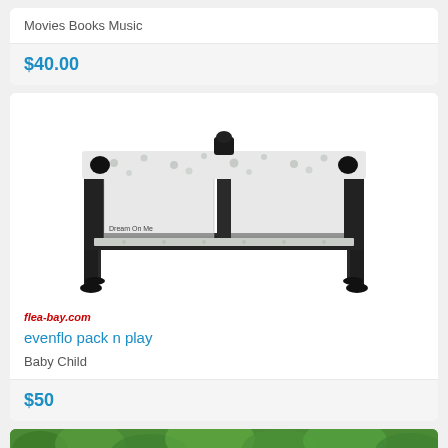Movies Books Music
$40.00
[Figure (photo): Evenflo pack n play portable playard with white/grey polka dot canopy and mesh sides, dark grey frame]
flea-bay.com
evenflo pack n play
Baby Child
$50
[Figure (photo): Green grass/foliage partially visible at bottom of page]